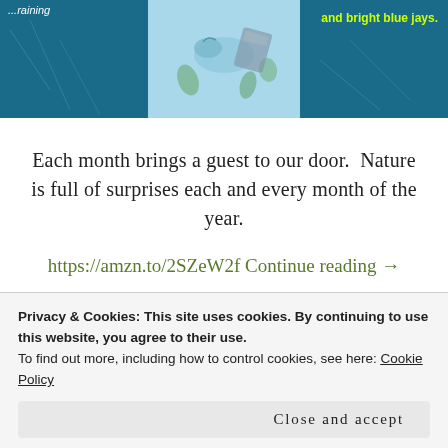[Figure (illustration): Three-panel banner image: left panel with dark teal background and italic text partially visible ('...raining'), center panel with light blue background showing illustrated birds and plant elements, right panel with dark teal background and yellow-green text 'and bright blue jays.']
Each month brings a guest to our door.  Nature is full of surprises each and every month of the year.
https://amzn.to/2SZeW2f Continue reading →
Children's Book, New Book
blue jays, books, calendar, grandchildren, grandparents, January, Mary Rensberry, months, Parents, poetry, QuickTurtle
Privacy & Cookies: This site uses cookies. By continuing to use this website, you agree to their use.
To find out more, including how to control cookies, see here: Cookie Policy
Close and accept